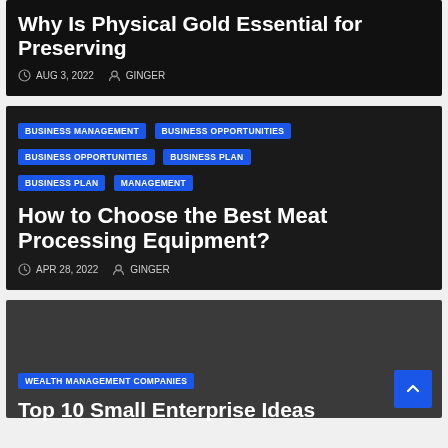Why Is Physical Gold Essential for Preserving
AUG 3, 2022  GINGER
BUSINESS MANAGEMENT
BUSINESS OPPORTUNITIES
BUSINESS OPPORTUNITIES
BUSINESS PLAN
BUSINESS PLAN
MANAGEMENT
How to Choose the Best Meat Processing Equipment?
APR 28, 2022  GINGER
WEALTH MANAGEMENT COMPANIES
Top 10 Small Enterprise Ideas